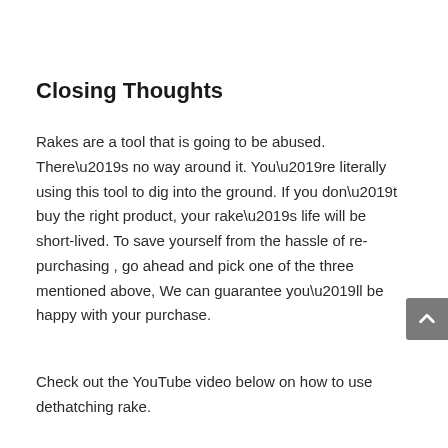Closing Thoughts
Rakes are a tool that is going to be abused. There’s no way around it. You’re literally using this tool to dig into the ground. If you don’t buy the right product, your rake’s life will be short-lived. To save yourself from the hassle of re- purchasing , go ahead and pick one of the three mentioned above, We can guarantee you’ll be happy with your purchase.
Check out the YouTube video below on how to use dethatching rake.